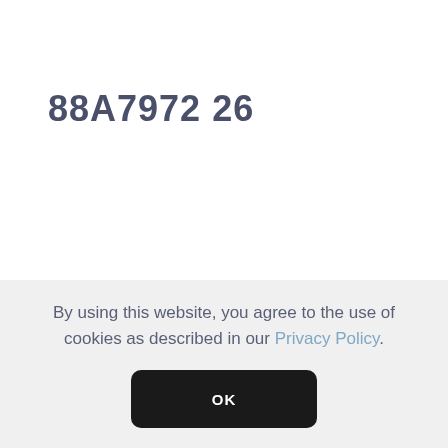88A7972 26
By using this website, you agree to the use of cookies as described in our Privacy Policy.
OK